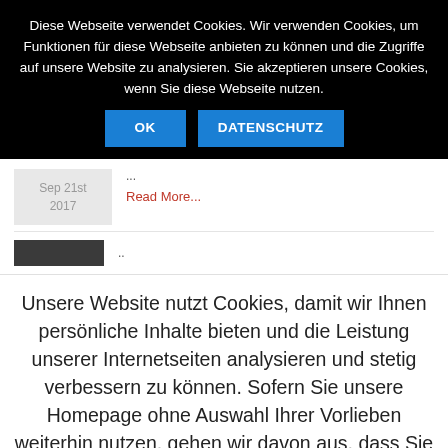Diese Webseite verwendet Cookies. Wir verwenden Cookies, um Funktionen für diese Webseite anbieten zu können und die Zugriffe auf unsere Website zu analysieren. Sie akzeptieren unsere Cookies, wenn Sie diese Webseite nutzen.
OK   DATENSCHUTZ
Sep 21st 2017   ...   Read More...
..
Unsere Website nutzt Cookies, damit wir Ihnen persönliche Inhalte bieten und die Leistung unserer Internetseiten analysieren und stetig verbessern zu können. Sofern Sie unsere Homepage ohne Auswahl Ihrer Vorlieben weiterhin nutzen, gehen wir davon aus, dass Sie nichts gegen Cookies haben.
Cookie settings   Ich stimme zu